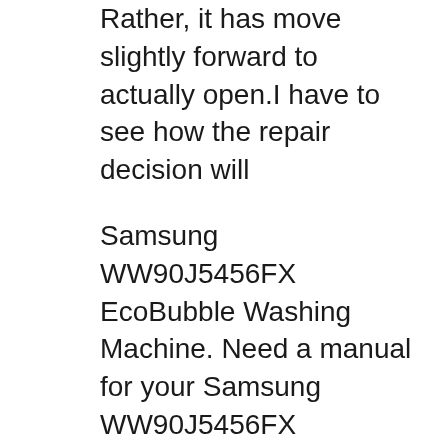Rather, it has move slightly forward to actually open.I have to see how the repair decision will
Samsung WW90J5456FX EcoBubble Washing Machine. Need a manual for your Samsung WW90J5456FX EcoBubble Washing Machine? Below you can view and download the PDF manual for free. There are also frequently asked questions, a product rating and feedback from users to enable you to optimally use your product. Samsung Top Load Washer Repair Manual I called a repair shop that worked with Samsung warranties. Samsung top-loading washing machine #WA45H7000A. The manual doesn't tell you this. The repair